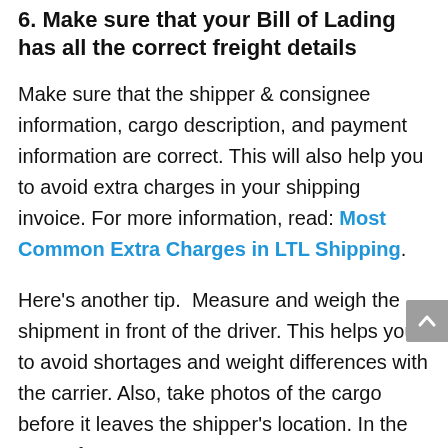6. Make sure that your Bill of Lading has all the correct freight details
Make sure that the shipper & consignee information, cargo description, and payment information are correct. This will also help you to avoid extra charges in your shipping invoice. For more information, read: Most Common Extra Charges in LTL Shipping.
Here's another tip.  Measure and weigh the shipment in front of the driver. This helps you to avoid shortages and weight differences with the carrier. Also, take photos of the cargo before it leaves the shipper's location. In the case of a